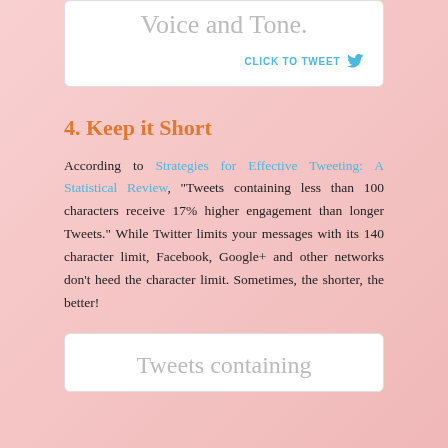[Figure (other): Tweet box with partial text 'Determine Your Voice and Tone.' and 'CLICK TO TWEET' with Twitter bird icon]
4. Keep it Short
According to Strategies for Effective Tweeting: A Statistical Review, “Tweets containing less than 100 characters receive 17% higher engagement than longer Tweets.” While Twitter limits your messages with its 140 character limit, Facebook, Google+ and other networks don’t heed the character limit. Sometimes, the shorter, the better!
[Figure (other): Tweet box with partial text 'Tweets containing']